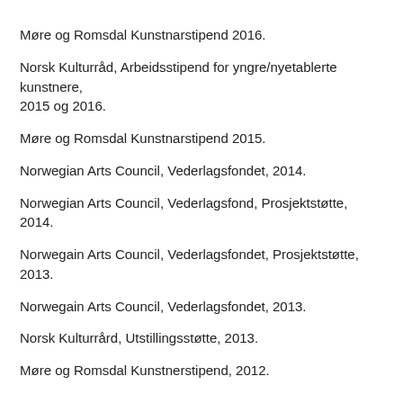Møre og Romsdal Kunstnarstipend 2016.
Norsk Kulturråd, Arbeidsstipend for yngre/nyetablerte kunstnere, 2015 og 2016.
Møre og Romsdal Kunstnarstipend 2015.
Norwegian Arts Council, Vederlagsfondet, 2014.
Norwegian Arts Council, Vederlagsfond, Prosjektstøtte, 2014.
Norwegain Arts Council, Vederlagsfondet, Prosjektstøtte, 2013.
Norwegain Arts Council, Vederlagsfondet, 2013.
Norsk Kulturrård, Utstillingsstøtte, 2013.
Møre og Romsdal Kunstnerstipend, 2012.